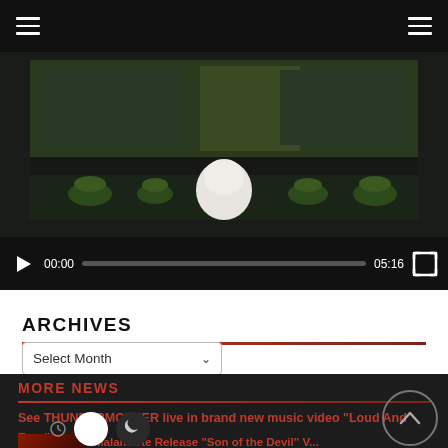[Figure (screenshot): Video player showing a music video with a dark shelf/stage scene. Controls bar shows play button, timestamp 00:00, progress bar, duration 05:16, and fullscreen button.]
ARCHIVES
Select Month
MORE NEWS
See THUNDERMOTHER live in brand new music video "Loud And Free"
Malamorte Release "Son of the Devil" V...
August 23, 2022